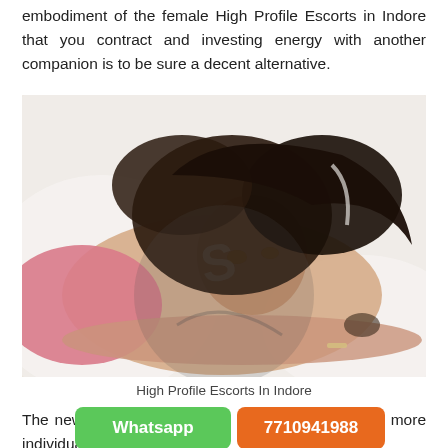embodiment of the female High Profile Escorts in Indore that you contract and investing energy with another companion is to be sure a decent alternative.
[Figure (photo): Young woman with dark hair lying on white bedding, wearing a pink top, with a watermark overlay]
High Profile Escorts In Indore
The new embodiment of the more efficient that more individuals joining calling.